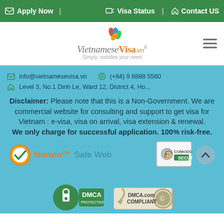Apply Now | Visa Status | Contact US
[Figure (logo): VietnameseVisa.vn logo with colorful leaf icon and tagline 'Simply, satisfies your need']
info@vietnamesevisa.vn
(+84) 9 8888 5560
Level 3, No.1 Dinh Le, Ward 12, District 4, Ho...
Disclaimer: Please note that this is a Non-Government. We are commercial website for consulting and support to get visa for Vietnam : e-visa, visa on arrival, visa extension & renewal. We only charge for successful application. 100% risk-free.
[Figure (logo): Norton Safe Web badge with orange checkmark]
[Figure (logo): Comodo Secure badge with thumbs up icon]
[Figure (logo): DMCA Protected badge]
[Figure (logo): DMCA.com Compliant badge]